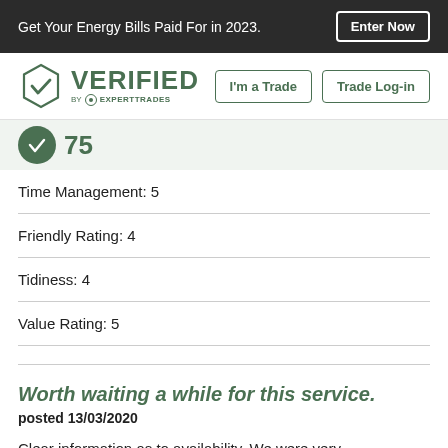Get Your Energy Bills Paid For in 2023.  Enter Now
[Figure (logo): Verified by Expert Trades logo with hexagon checkmark]
75
Time Management: 5
Friendly Rating: 4
Tidiness: 4
Value Rating: 5
Worth waiting a while for this service.
posted 13/03/2020
Clear information as to availability. We were very